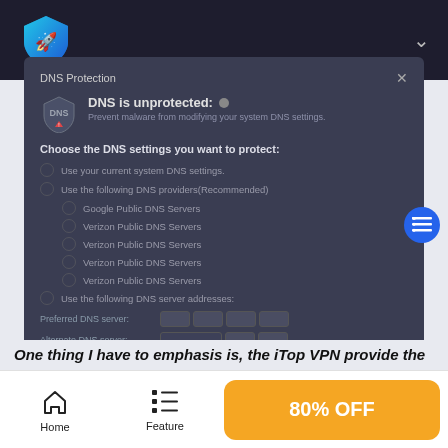[Figure (screenshot): Top navigation bar with iTop VPN shield/rocket logo on the left and a chevron/dropdown icon on the right, on a dark navy background]
[Figure (screenshot): DNS Protection dialog box on a light grey background. Shows 'DNS is unprotected' status with a grey dot, subtitle 'Prevent malware from modifying your system DNS settings.' Options to choose DNS settings: Use current system DNS, Use following DNS providers (Recommended) with sub-options for Google Public DNS Servers and multiple Verizon Public DNS Servers entries, Use following DNS server addresses with Preferred and Alternate DNS server input fields. Buttons: Restore, Cancel, OK. Blue circular list icon floating on the right edge.]
One thing I have to emphasis is, the iTop VPN provide the
[Figure (screenshot): Bottom navigation bar with Home icon and label, Feature icon and label, and a gold/orange '80% OFF' call-to-action button]